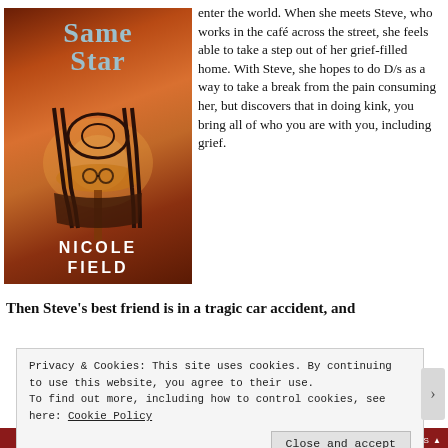[Figure (photo): Book cover for 'Same Star' by Nicole Field. Features a café scene with ornate black iron chair in warm amber/orange tones. Title in light blue serif text, author name in bold white sans-serif capitals.]
enter the world. When she meets Steve, who works in the café across the street, she feels able to take a step out of her grief-filled home. With Steve, she hopes to do D/s as a way to take a break from the pain consuming her, but discovers that in doing kink, you bring all of who you are with you, including grief.
Then Steve's best friend is in a tragic car accident, and
Privacy & Cookies: This site uses cookies. By continuing to use this website, you agree to their use.
To find out more, including how to control cookies, see here: Cookie Policy
Close and accept